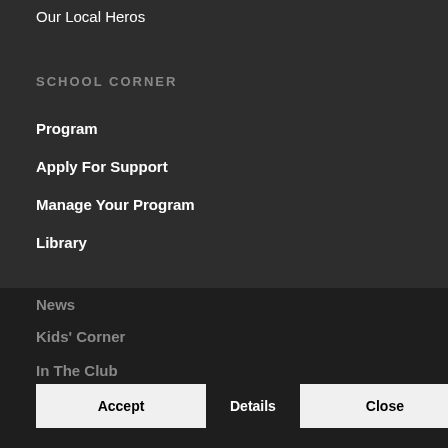Our Local Heros
SCHOOL CORNER
Program
Apply For Support
Manage Your Program
Library
JOURNAL
News
Kids' Corner
In The Club
This site uses cookies. By continuing to browse the site, you are agreeing to our use of cookies.
Accept   Details   Close